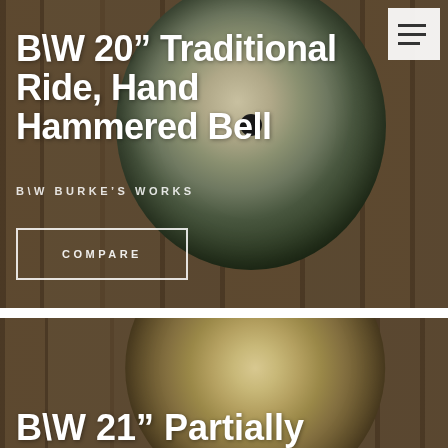[Figure (photo): A B\W 20 inch Traditional Ride cymbal with hand hammered bell, shown on a wooden plank background. White text overlay shows product title and brand. A COMPARE button with white border is visible at bottom left. A hamburger menu icon appears top right.]
B\W 20" Traditional Ride, Hand Hammered Bell
B\W BURKE'S WORKS
COMPARE
[Figure (photo): Partial view of a B\W 21 inch cymbal on a wooden plank background. White text at bottom shows start of product title.]
B\W 21" Partially